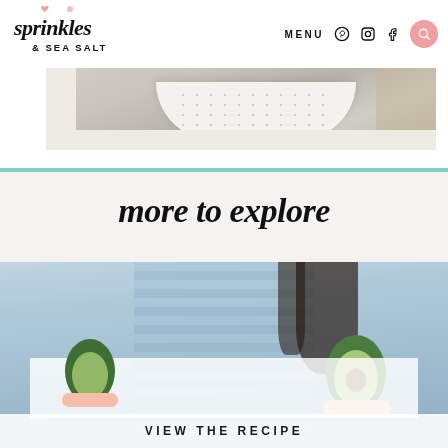[Figure (logo): Sprinkles & Sea Salt logo in cursive/script black font with a small pink heart above the ampersand]
MENU   ⓕ ⓘ f  [search icon]
[Figure (photo): Partial photo of a white speckled ceramic bowl on a wooden surface]
[Figure (photo): Photo of a person in a blue striped shirt holding a halved avocado]
more to explore
VIEW THE RECIPE